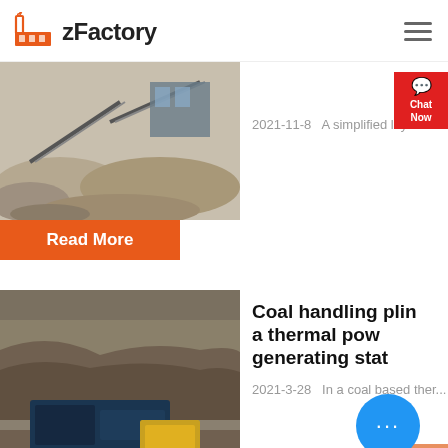zFactory
[Figure (photo): Mining/quarry site with conveyor belts and piles of aggregate material, industrial machinery visible]
2021-11-8   A simplified layout o
Read More
[Figure (photo): Heavy mining/crushing machinery (mobile jaw crusher) operating at a quarry site with rocky terrain]
Coal handling plant in a thermal power generating station
2021-3-28   In a coal based ther...
Read More